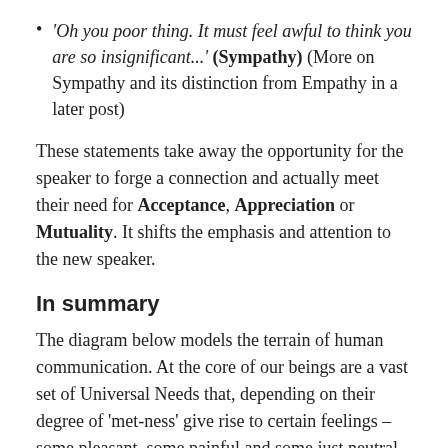'Oh you poor thing. It must feel awful to think you are so insignificant...' (Sympathy) (More on Sympathy and its distinction from Empathy in a later post)
These statements take away the opportunity for the speaker to forge a connection and actually meet their need for Acceptance, Appreciation or Mutuality. It shifts the emphasis and attention to the new speaker.
In summary
The diagram below models the terrain of human communication. At the core of our beings are a vast set of Universal Needs that, depending on their degree of 'met-ness' give rise to certain feelings – some pleasant, some painful and some just neutral. These feelings are indicators of the degree to which our needs are being